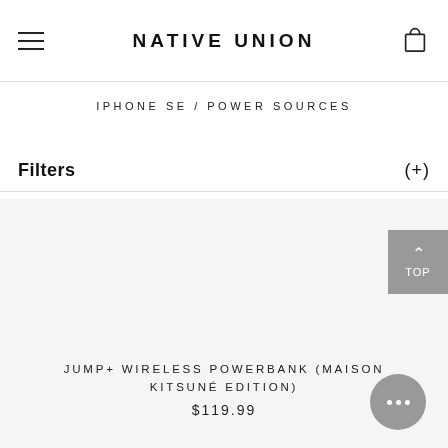NATIVE UNION
IPHONE SE / POWER SOURCES
Filters (+)
[Figure (other): Product image area (light gray background) for Jump+ Wireless Powerbank Maison Kitsuné Edition]
JUMP+ WIRELESS POWERBANK (MAISON KITSUNÉ EDITION)
$119.99